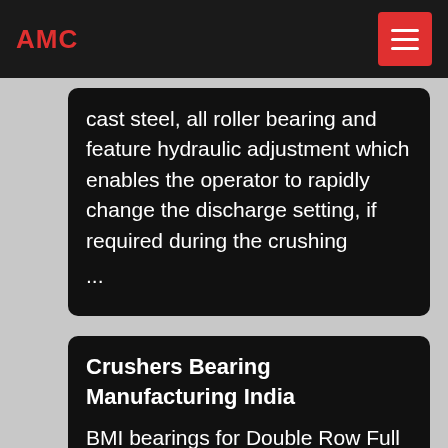AMC
cast steel, all roller bearing and feature hydraulic adjustment which enables the operator to rapidly change the discharge setting, if required during the crushing ...
Crushers Bearing Manufacturing India
BMI bearings for Double Row Full Complement Cylindrical Roller bearings for Crushers application. Technical characteristics: Maximum load carrying capacity due to full complement design with maximum number of rollers in the space available. Protection from dust